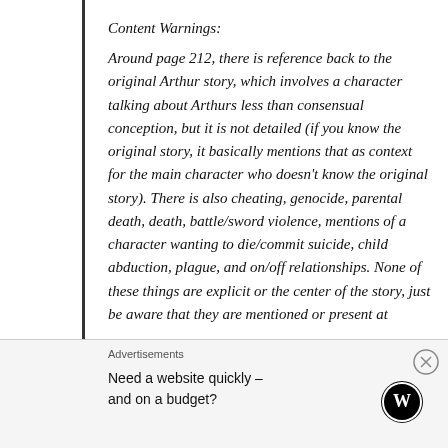Content Warnings:
Around page 212, there is reference back to the original Arthur story, which involves a character talking about Arthurs less than consensual conception, but it is not detailed (if you know the original story, it basically mentions that as context for the main character who doesn't know the original story). There is also cheating, genocide, parental death, death, battle/sword violence, mentions of a character wanting to die/commit suicide, child abduction, plague, and on/off relationships. None of these things are explicit or the center of the story, just be aware that they are mentioned or present at
Advertisements
Need a website quickly – and on a budget?